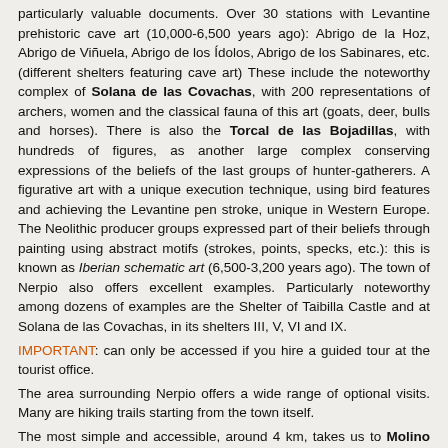particularly valuable documents. Over 30 stations with Levantine prehistoric cave art (10,000-6,500 years ago): Abrigo de la Hoz, Abrigo de Viñuela, Abrigo de los Ídolos, Abrigo de los Sabinares, etc. (different shelters featuring cave art) These include the noteworthy complex of Solana de las Covachas, with 200 representations of archers, women and the classical fauna of this art (goats, deer, bulls and horses). There is also the Torcal de las Bojadillas, with hundreds of figures, as another large complex conserving expressions of the beliefs of the last groups of hunter-gatherers. A figurative art with a unique execution technique, using bird features and achieving the Levantine pen stroke, unique in Western Europe. The Neolithic producer groups expressed part of their beliefs through painting using abstract motifs (strokes, points, specks, etc.): this is known as Iberian schematic art (6,500-3,200 years ago). The town of Nerpio also offers excellent examples. Particularly noteworthy among dozens of examples are the Shelter of Taibilla Castle and at Solana de las Covachas, in its shelters III, V, VI and IX.
IMPORTANT: can only be accessed if you hire a guided tour at the tourist office.
The area surrounding Nerpio offers a wide range of optional visits. Many are hiking trails starting from the town itself.
The most simple and accessible, around 4 km, takes us to Molino de las Fuentes, which is the source of the Acedas stream that runs through the town centre. It is a recreational zone, with picnic tables and a nice spot for relaxing.
The Zarzalar route, around 8 km, takes us along the riverbanks (or literally